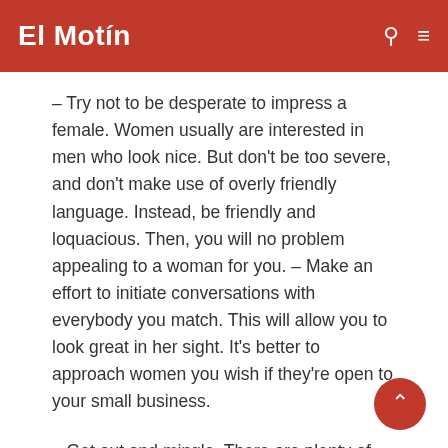El Motín
– Try not to be desperate to impress a female. Women usually are interested in men who look nice. But don't be too severe, and don't make use of overly friendly language. Instead, be friendly and loquacious. Then, you will no problem appealing to a woman for you. – Make an effort to initiate conversations with everybody you match. This will allow you to look great in her sight. It's better to approach women you wish if they're open to your small business.
– Get out and mingle. There are plenty of places where you may talk to ladies. A few of these spots are a laundromat, bus stop, gym, and video retail store. Another great location to talk to women is at a backyard event, such as a